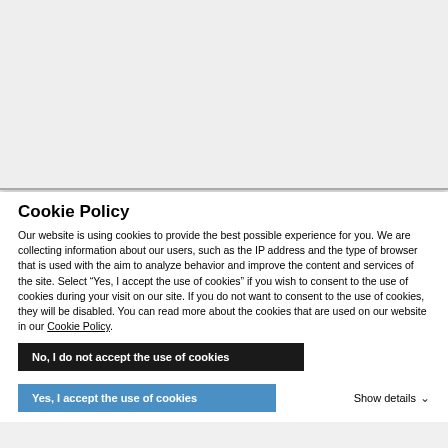[Figure (other): Gray background area representing a blurred/obscured webpage behind a cookie consent overlay. Has a shadow/border at the bottom separating it from the cookie policy panel.]
Cookie Policy
Our website is using cookies to provide the best possible experience for you. We are collecting information about our users, such as the IP address and the type of browser that is used with the aim to analyze behavior and improve the content and services of the site. Select “Yes, I accept the use of cookies” if you wish to consent to the use of cookies during your visit on our site. If you do not want to consent to the use of cookies, they will be disabled. You can read more about the cookies that are used on our website in our Cookie Policy.
No, I do not accept the use of cookies
Yes, I accept the use of cookies
Show details